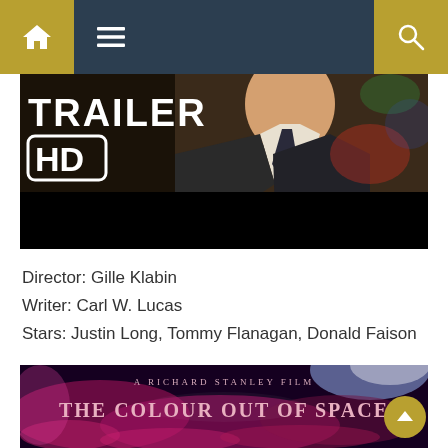Navigation bar with home, menu, and search icons
[Figure (screenshot): Movie trailer thumbnail showing a man in a suit with 'TRAILER' and 'HD' text overlay on the left side, dark bottom bar]
Director: Gille Klabin
Writer: Carl W. Lucas
Stars: Justin Long, Tommy Flanagan, Donald Faison
[Figure (screenshot): Movie poster for 'The Colour Out of Space' - A Richard Stanley Film, with pink/purple cosmic background]
A RICHARD STANLEY FILM THE COLOUR OUT OF SPACE